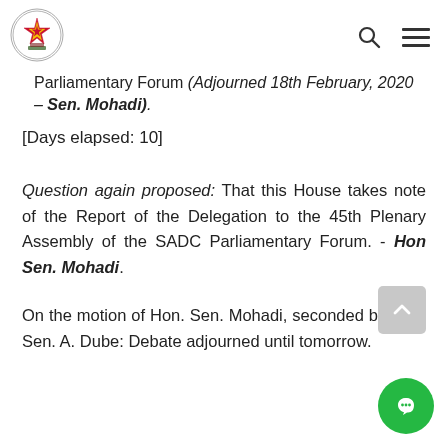Parliament of Zimbabwe – navigation header with logo, search icon, and menu icon
Parliamentary Forum (Adjourned 18th February, 2020 – Sen. Mohadi).
[Days elapsed: 10]
Question again proposed: That this House takes note of the Report of the Delegation to the 45th Plenary Assembly of the SADC Parliamentary Forum. - Hon Sen. Mohadi.
On the motion of Hon. Sen. Mohadi, seconded by Hon. Sen. A. Dube: Debate adjourned until tomorrow.